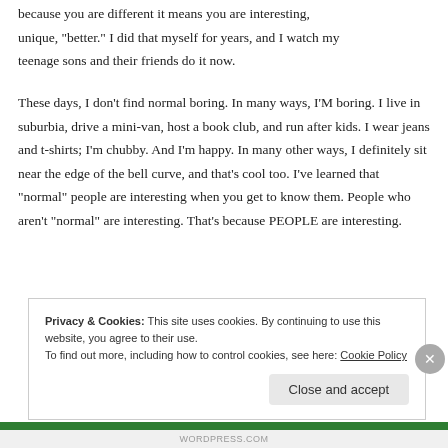because you are different it means you are interesting, unique, "better." I did that myself for years, and I watch my teenage sons and their friends do it now.
These days, I don't find normal boring. In many ways, I'M boring. I live in suburbia, drive a mini-van, host a book club, and run after kids. I wear jeans and t-shirts; I'm chubby. And I'm happy. In many other ways, I definitely sit near the edge of the bell curve, and that's cool too. I've learned that "normal" people are interesting when you get to know them. People who aren't "normal" are interesting. That's because PEOPLE are interesting.
Privacy & Cookies: This site uses cookies. By continuing to use this website, you agree to their use. To find out more, including how to control cookies, see here: Cookie Policy
Close and accept